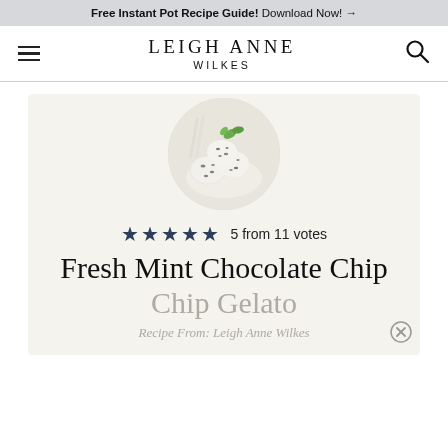Free Instant Pot Recipe Guide! Download Now! →
LEIGH ANNE WILKES
[Figure (photo): Circular photo of fresh mint chocolate chip gelato scoops with mint leaves]
5 from 11 votes
Fresh Mint Chocolate Chip Gelato
Recipe From: Leigh Anne Wilkes